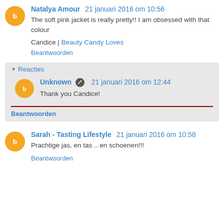Natalya Amour  21 januari 2016 om 10:56
The soft pink jacket is really pretty!! I am obsessed with that colour
Candice | Beauty Candy Loves
Beantwoorden
Reacties
Unknown  21 januari 2016 om 12:44
Thank you Candice!
Beantwoorden
Sarah - Tasting Lifestyle  21 januari 2016 om 10:58
Prachtige jas, en tas .. en schoenen!!!
Beantwoorden